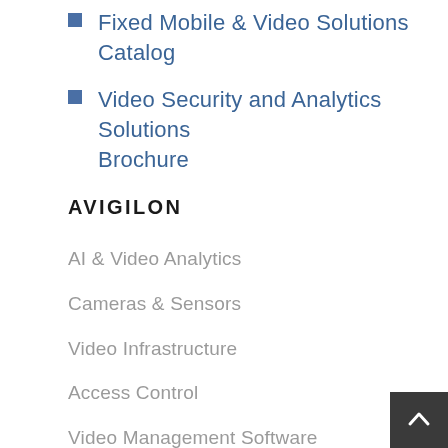Fixed Mobile & Video Solutions Catalog
Video Security and Analytics Solutions Brochure
AVIGILON
AI & Video Analytics
Cameras & Sensors
Video Infrastructure
Access Control
Video Management Software
Integrations
Industry Solutions